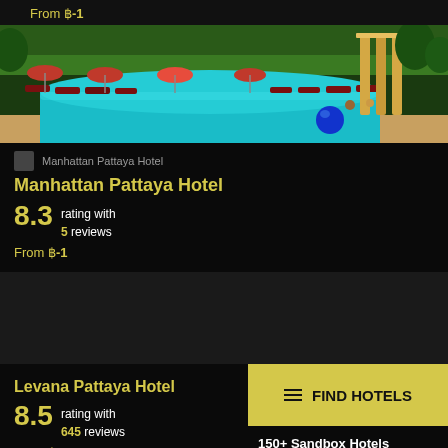From ฿-1
[Figure (photo): Hotel pool area with lounge chairs, umbrellas, tropical greenery, and decorative columns]
Manhattan Pattaya Hotel
Manhattan Pattaya Hotel
8.3 rating with 5 reviews
From ฿-1
Levana Pattaya Hotel
8.5 rating with 645 reviews
From ฿-1
≡ FIND HOTELS
150+ Sandbox Hotels